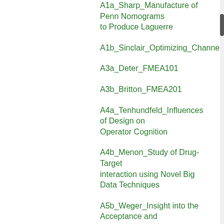A1a_Sharp_Manufacture of Penn Nomograms to Produce Laguerre
A1b_Sinclair_Optimizing_Channelization
A3a_Deter_FMEA101
A3b_Britton_FMEA201
A4a_Tenhundfeld_Influences of Design on Operator Cognition
A4b_Menon_Study of Drug-Target interaction using Novel Big Data Techniques
A5b_Weger_Insight into the Acceptance and Adoption of Autonomous Systems
A5c_Watts_Evolution and History of